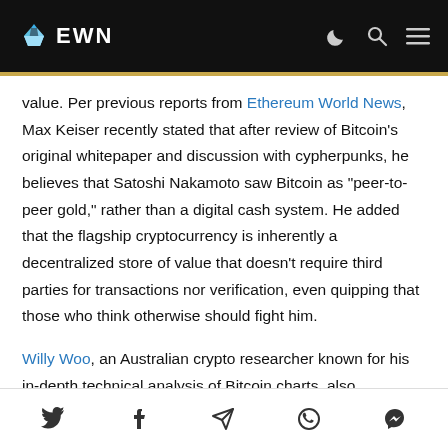EWN
value. Per previous reports from Ethereum World News, Max Keiser recently stated that after review of Bitcoin’s original whitepaper and discussion with cypherpunks, he believes that Satoshi Nakamoto saw Bitcoin as “peer-to-peer gold,” rather than a digital cash system. He added that the flagship cryptocurrency is inherently a decentralized store of value that doesn’t require third parties for transactions nor verification, even quipping that those who think otherwise should fight him.
Willy Woo, an Australian crypto researcher known for his in-depth technical analysis of Bitcoin charts, also commented on the matter. In reference to a space-related article outlining asteroid mining, which could produce quadrillions of dollars
Share icons: Twitter, Facebook, Telegram, WhatsApp, Messenger